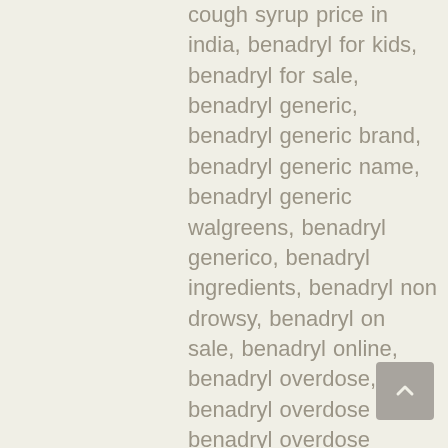cough syrup price in india, benadryl for kids, benadryl for sale, benadryl generic, benadryl generic brand, benadryl generic name, benadryl generic walgreens, benadryl generico, benadryl ingredients, benadryl non drowsy, benadryl on sale, benadryl online, benadryl overdose, benadryl overdose child, benadryl overdose death, benadryl overdose dosage, benadryl overdose treatment, benadryl price, benadryl price at walgreens, benadryl price at